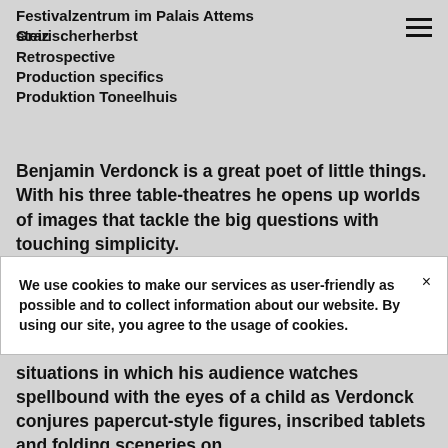Festivalzentrum im Palais Attems
steirischerherbst
Graz
Retrospective
Production specifics
Produktion Toneelhuis
Benjamin Verdonck is a great poet of little things. With his three table-theatres he opens up worlds of images that tackle the big questions with touching simplicity.
We use cookies to make our services as user-friendly as possible and to collect information about our website. By using our site, you agree to the usage of cookies.
situations in which his audience watches spellbound with the eyes of a child as Verdonck conjures papercut-style figures, inscribed tablets and folding sceneries on